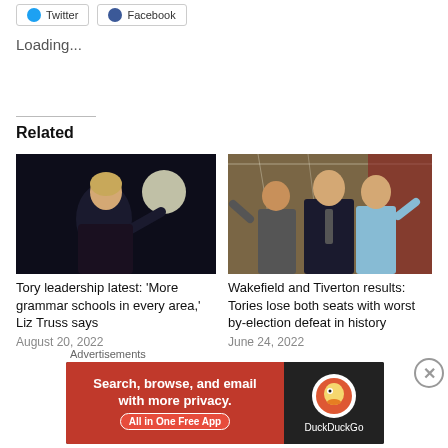[Figure (screenshot): Twitter and Facebook share buttons at top]
Loading...
Related
[Figure (photo): Liz Truss speaking at an event, dark background with spotlight]
Tory leadership latest: 'More grammar schools in every area,' Liz Truss says
August 20, 2022
[Figure (photo): Man in suit walking with people celebrating behind him in a hall]
Wakefield and Tiverton results: Tories lose both seats with worst by-election defeat in history
June 24, 2022
Advertisements
[Figure (screenshot): DuckDuckGo advertisement: Search, browse, and email with more privacy. All in One Free App]